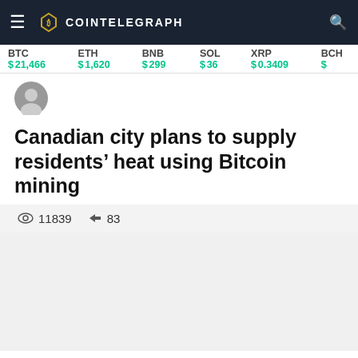COINTELEGRAPH
BTC $21,466  ETH $1,620  BNB $299  SOL $36  XRP $0.3409  BCH $
Canadian city plans to supply residents' heat using Bitcoin mining
11839  83
[Figure (illustration): Article image placeholder area (gray background)]
Social share buttons: Facebook, Twitter, Telegram, LinkedIn, WhatsApp, Reddit
Previous and Next navigation buttons